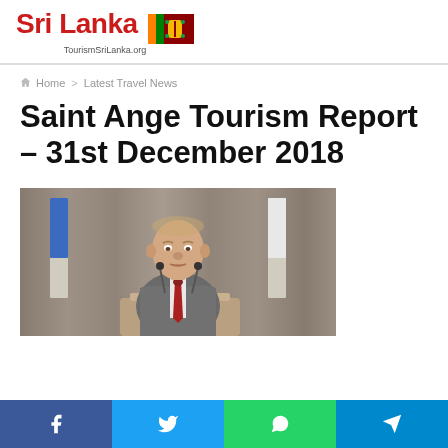Sri Lanka TourismSriLanka.org
Home > Latest Travel News
Saint Ange Tourism Report – 31st December 2018
[Figure (photo): A man in a grey suit with a red tie speaking at a podium with microphones, flanked by flags, in front of a grey curtain background.]
Facebook | Twitter | WhatsApp | Telegram